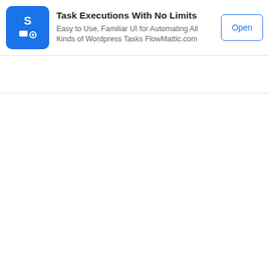[Figure (screenshot): Mobile advertisement banner for FlowMattic showing logo icon, title 'Task Executions With No Limits', description text, and an Open button]
Task Executions With No Limits
Easy to Use, Familiar UI for Automating All Kinds of Wordpress Tasks FlowMattic.com